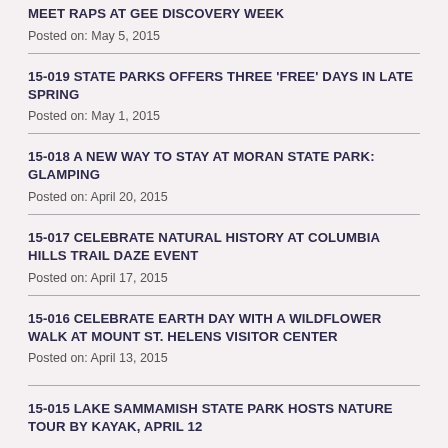MEET RAPS AT GEE DISCOVERY WEEK
Posted on: May 5, 2015
15-019 STATE PARKS OFFERS THREE 'FREE' DAYS IN LATE SPRING
Posted on: May 1, 2015
15-018 A NEW WAY TO STAY AT MORAN STATE PARK: GLAMPING
Posted on: April 20, 2015
15-017 CELEBRATE NATURAL HISTORY AT COLUMBIA HILLS TRAIL DAZE EVENT
Posted on: April 17, 2015
15-016 CELEBRATE EARTH DAY WITH A WILDFLOWER WALK AT MOUNT ST. HELENS VISITOR CENTER
Posted on: April 13, 2015
15-015 LAKE SAMMAMISH STATE PARK HOSTS NATURE TOUR BY KAYAK, APRIL 12